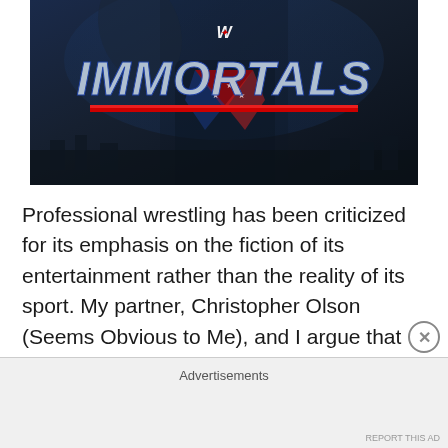[Figure (illustration): WWE Immortals game promotional image showing a superhero-costumed wrestler with the WWE logo and 'IMMORTALS' text in large stylized letters, with a red underline, set against a dark blue atmospheric city background.]
Professional wrestling has been criticized for its emphasis on the fiction of its entertainment rather than the reality of its sport. My partner, Christopher Olson (Seems Obvious to Me), and I argue that professional wrestling functions as a
Advertisements